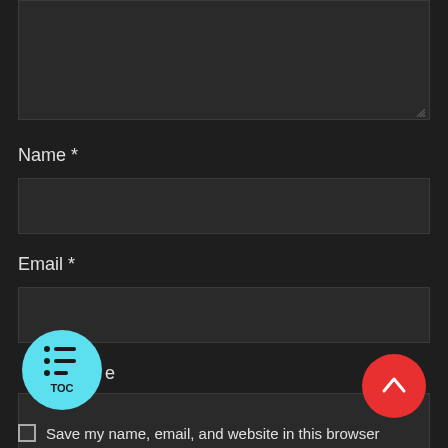[Figure (screenshot): Dark-themed web comment form showing a textarea at the top, input fields for Name, Email, and Website, with a cyan TOC floating button and a red scroll-to-top button, and a checkbox row at the bottom reading 'Save my name, email, and website in this browser']
Name *
Email *
Website
Save my name, email, and website in this browser